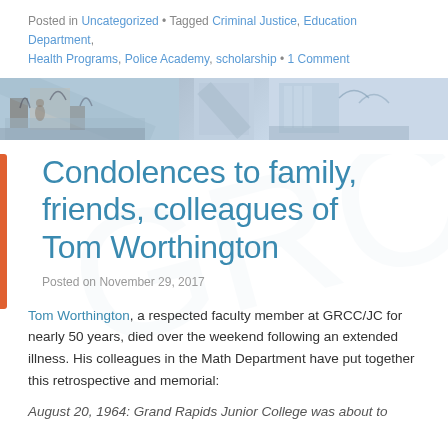Posted in Uncategorized • Tagged Criminal Justice, Education Department, Health Programs, Police Academy, scholarship • 1 Comment
[Figure (photo): Horizontal banner photo showing a college campus building exterior with trees in winter, split into three segments]
Condolences to family, friends, colleagues of Tom Worthington
Posted on November 29, 2017
Tom Worthington, a respected faculty member at GRCC/JC for nearly 50 years, died over the weekend following an extended illness. His colleagues in the Math Department have put together this retrospective and memorial:
August 20, 1964: Grand Rapids Junior College was about to